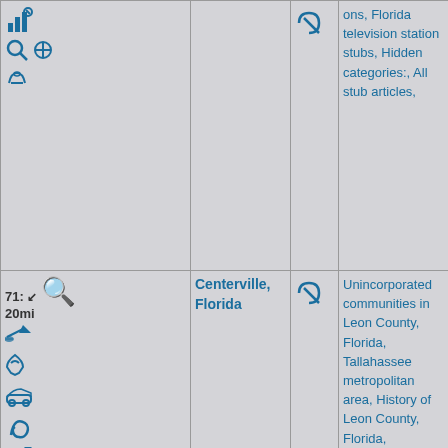| Controls | Location | Link | Categories | Map |
| --- | --- | --- | --- | --- |
| [icons] |  | [link] | ons, Florida television station stubs, Hidden categories:, All stub articles, |  |
| 71: 20mi [icons] | Centerville, Florida | [link] | Unincorporated communities in Leon County, Florida, Tallahassee metropolitan area, History of Leon County, Florida, Unincorporated communities |  |